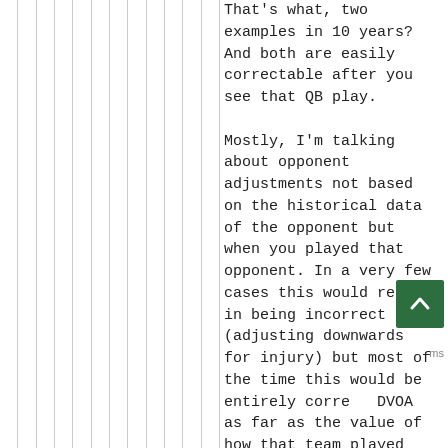That's what, two examples in 10 years? And both are easily correctable after you see that QB play.

Mostly, I'm talking about opponent adjustments not based on the historical data of the opponent but when you played that opponent. In a very few cases this would result in being incorrect (adjusting downwards for injury) but most of the time this would be entirely correct DVOA as far as the value of how that team played wouldn't change - or rather VOA wouldn't